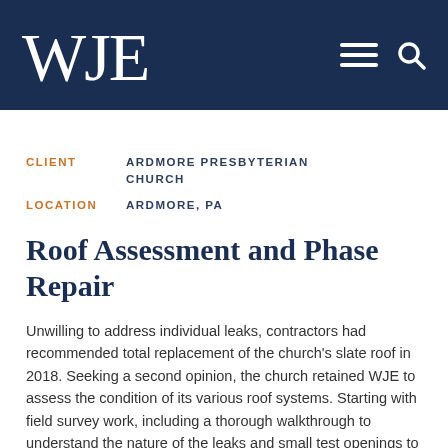WJE
CLIENT   ARDMORE PRESBYTERIAN CHURCH
LOCATION   ARDMORE, PA
Roof Assessment and Phase Repair
Unwilling to address individual leaks, contractors had recommended total replacement of the church's slate roof in 2018. Seeking a second opinion, the church retained WJE to assess the condition of its various roof systems. Starting with field survey work, including a thorough walkthrough to understand the nature of the leaks and small test openings to evaluate the slate shingles, it became apparent that natural weathering, deferred maintenance, and localized deficiencies in original detailing were the source of many of the most